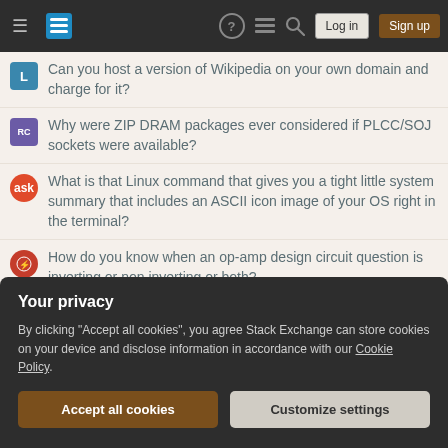Stack Exchange navigation bar with Log in and Sign up buttons
Can you host a version of Wikipedia on your own domain and charge for it?
Why were ZIP DRAM packages ever considered if PLCC/SOJ sockets were available?
What is that Linux command that gives you a tight little system summary that includes an ASCII icon image of your OS right in the terminal?
How do you know when an op-amp design circuit question is inverting or non inverting or both?
Should I admit to accidentally cheating on an exam?
Grammar of "all's well that ends well"?
Year, month, week, day, hour, minute, second abbreviation in French
Your privacy
By clicking "Accept all cookies", you agree Stack Exchange can store cookies on your device and disclose information in accordance with our Cookie Policy.
Accept all cookies | Customize settings